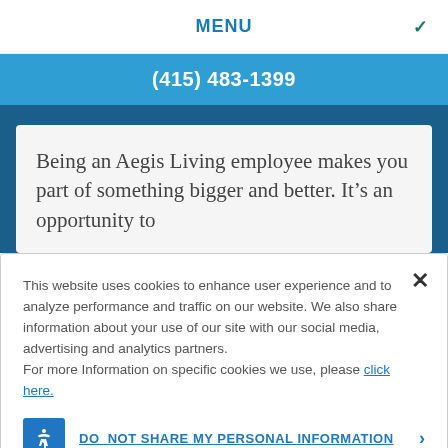MENU
(415) 483-1399
Being an Aegis Living employee makes you part of something bigger and better. It's an opportunity to
This website uses cookies to enhance user experience and to analyze performance and traffic on our website. We also share information about your use of our site with our social media, advertising and analytics partners.
For more Information on specific cookies we use, please click here.
DO NOT SHARE MY PERSONAL INFORMATION
ACCEPT COOKIES